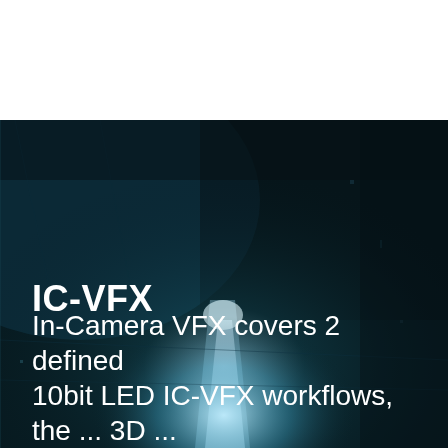[Figure (photo): Dark cinematic background image showing a large LED volume stage or warehouse space with industrial lighting creating a bright beam in the center. The scene has a teal-dark color palette with textured walls and dramatic lighting. The top portion of the page is white.]
IC-VFX
In-Camera VFX covers 2 defined 10bit LED IC-VFX workflows, the...  3D ...